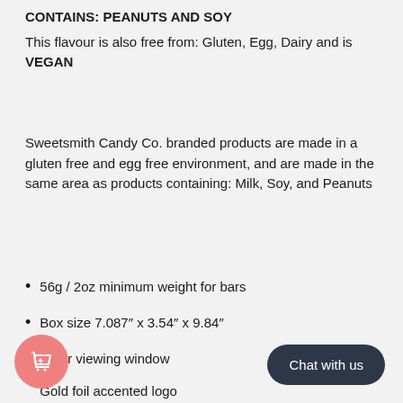CONTAINS: PEANUTS AND SOY
This flavour is also free from: Gluten, Egg, Dairy and is VEGAN
Sweetsmith Candy Co. branded products are made in a gluten free and egg free environment, and are made in the same area as products containing: Milk, Soy, and Peanuts
56g / 2oz minimum weight for bars
Box size 7.087″ x 3.54″ x 9.84″
Clear viewing window
Gold foil accented logo